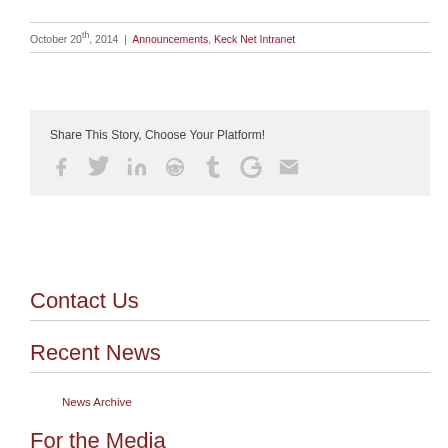October 20th, 2014 | Announcements, Keck Net Intranet
[Figure (infographic): Share This Story, Choose Your Platform! with social media icons: Facebook, Twitter, LinkedIn, Reddit, Tumblr, Google+, Email]
Contact Us
Recent News
News Archive
For the Media